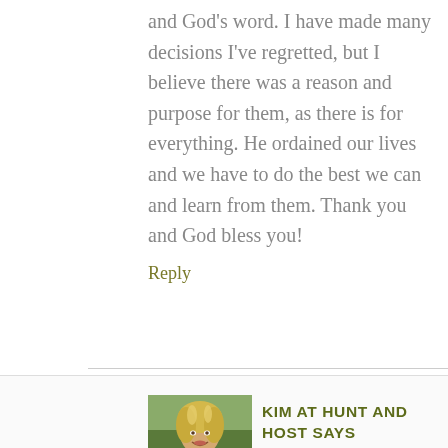and God’s word. I have made many decisions I’ve regretted, but I believe there was a reason and purpose for them, as there is for everything. He ordained our lives and we have to do the best we can and learn from them. Thank you and God bless you!
Reply
[Figure (photo): Headshot of Kim, a woman with blonde highlighted hair, smiling outdoors]
KIM AT HUNT AND HOST SAYS